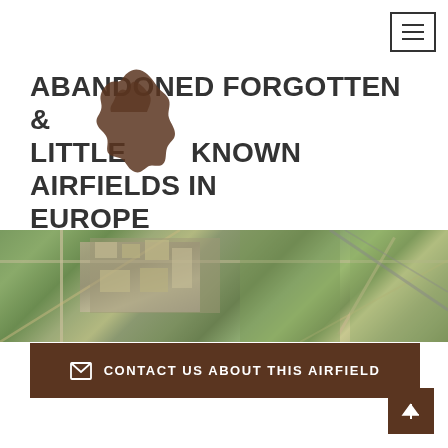[Figure (other): Hamburger menu icon button with three horizontal lines, top-right corner]
ABANDONED FORGOTTEN & LITTLE KNOWN AIRFIELDS IN EUROPE
[Figure (map): Satellite aerial view of the location of the former airport in 2009 (Google Earth), showing buildings, roads, and vegetation]
Location of the former airport in 2009 (Google Earth)
[Figure (other): Contact Us About This Airfield button with envelope icon, dark brown background]
[Figure (other): Scroll to top arrow button, dark brown square]